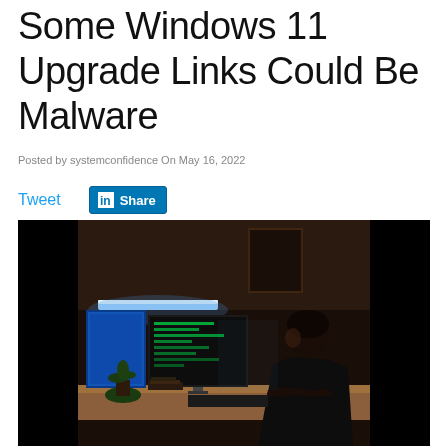Some Windows 11 Upgrade Links Could Be Malware
Posted by systemconfidence On May 16, 2022
Tweet   Share
[Figure (photo): Person sitting at a dark desk with dual monitors showing code/blue screen, working at night in a dimly lit room]